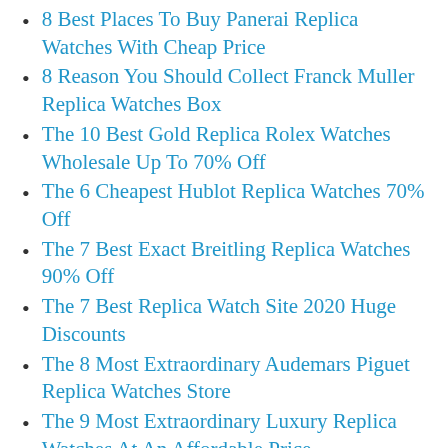8 Best Places To Buy Panerai Replica Watches With Cheap Price
8 Reason You Should Collect Franck Muller Replica Watches Box
The 10 Best Gold Replica Rolex Watches Wholesale Up To 70% Off
The 6 Cheapest Hublot Replica Watches 70% Off
The 7 Best Exact Breitling Replica Watches 90% Off
The 7 Best Replica Watch Site 2020 Huge Discounts
The 8 Most Extraordinary Audemars Piguet Replica Watches Store
The 9 Most Extraordinary Luxury Replica Watches At An Affordable Price
Top 10 Exquisite Noob Factory Replica...